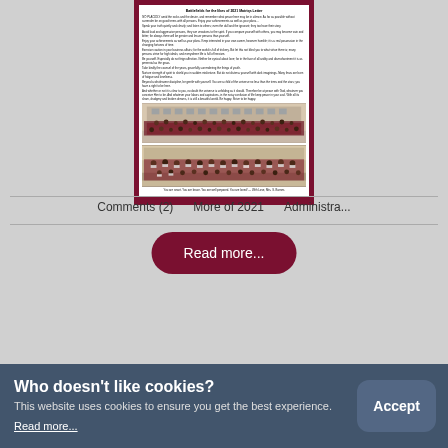[Figure (photo): A school newsletter or letter page with text content, two group photos of students in maroon/burgundy uniforms, and a caption at the bottom. The top section contains a heading and several paragraphs of text. Below the text are two photographs: one outdoor group photo and one indoor group photo with students wearing masks.]
Comments (2)    More of 2021    Administra...
Read more...
Who doesn't like cookies?
This website uses cookies to ensure you get the best experience.
Read more...
Accept